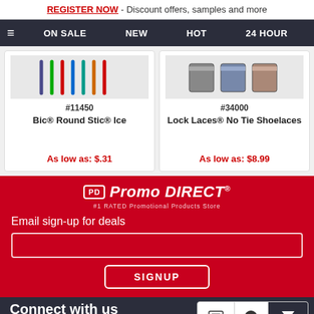REGISTER NOW - Discount offers, samples and more
≡  ON SALE  NEW  HOT  24 HOUR
[Figure (screenshot): Product card showing colored pens/markers with cap ends visible, item #11450 Bic® Round Stic® Ice, As low as: $.31]
[Figure (screenshot): Product card showing Lock Laces packages, item #34000 Lock Laces® No Tie Shoelaces, As low as: $8.99]
[Figure (logo): Promo Direct logo with PD box icon and italic text, tagline #1 RATED Promotional Products Store]
Email sign-up for deals
SIGNUP
Connect with us
Email  Chat  Hide